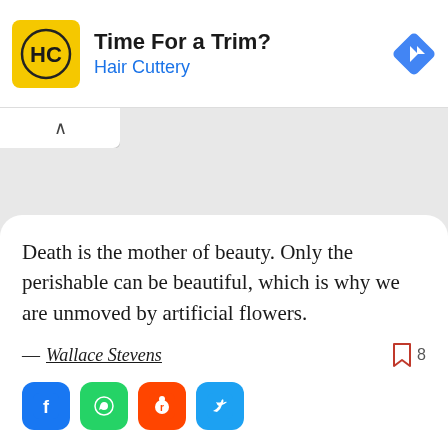[Figure (screenshot): Advertisement banner for Hair Cuttery with yellow logo, title 'Time For a Trim?', subtitle 'Hair Cuttery' in blue, and a blue navigation diamond icon on the right.]
Death is the mother of beauty. Only the perishable can be beautiful, which is why we are unmoved by artificial flowers.
— Wallace Stevens  8
[Figure (screenshot): Social share buttons: Facebook (blue), WhatsApp (green), Reddit (orange-red), Twitter (blue)]